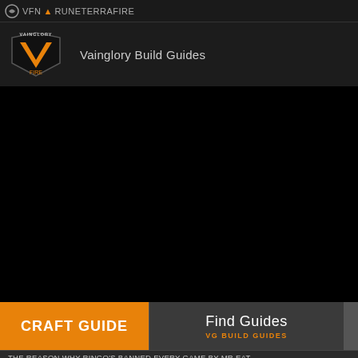VFN RUNETERRAFIRE
[Figure (logo): Vainglory Fire logo — shield emblem with fire icon]
Vainglory Build Guides
[Figure (screenshot): Black content area — video or image placeholder]
CRAFT GUIDE
Find Guides
VG BUILD GUIDES
THE REASON WHY RINGO'S BANNED EVERY GAME BY MR.EAT